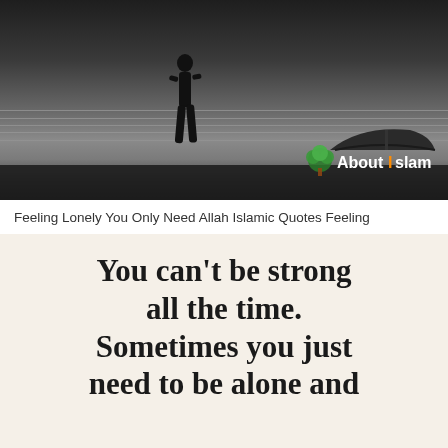[Figure (photo): Black and white photo of a solitary person standing by a calm lake or river, with a boat visible on the right side. AboutIslam watermark in the bottom right corner of the photo.]
Feeling Lonely You Only Need Allah Islamic Quotes Feeling
[Figure (photo): Motivational quote image with beige/cream background and large bold dark text reading: 'You can't be strong all the time. Sometimes you just need to be alone and' (text continues below visible area).]